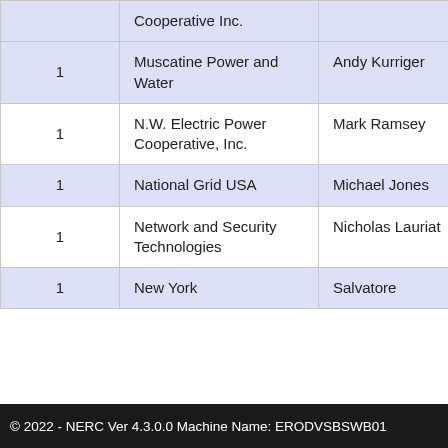|  | Organization | Name |  |
| --- | --- | --- | --- |
|  | Cooperative Inc. |  |  |
| 1 | Muscatine Power and Water | Andy Kurriger |  |
| 1 | N.W. Electric Power Cooperative, Inc. | Mark Ramsey |  |
| 1 | National Grid USA | Michael Jones |  |
| 1 | Network and Security Technologies | Nicholas Lauriat |  |
| 1 | New York | Salvatore |  |
© 2022 - NERC Ver 4.3.0.0 Machine Name: ERODVSBSWB01